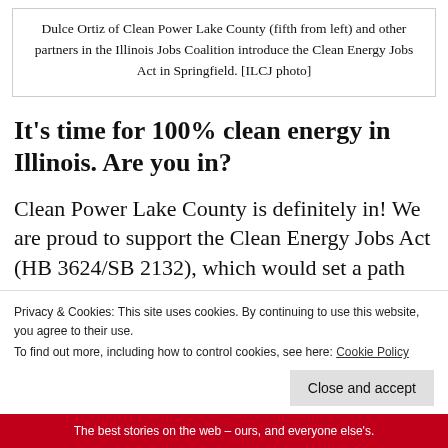Dulce Ortiz of Clean Power Lake County (fifth from left) and other partners in the Illinois Jobs Coalition introduce the Clean Energy Jobs Act in Springfield. [ILCJ photo]
It's time for 100% clean energy in Illinois. Are you in?
Clean Power Lake County is definitely in! We are proud to support the Clean Energy Jobs Act (HB 3624/SB 2132), which would set a path for Illinois to be 100% powered by renewable energy, increase energy efficiency,
Privacy & Cookies: This site uses cookies. By continuing to use this website, you agree to their use.
To find out more, including how to control cookies, see here: Cookie Policy
Close and accept
The best stories on the web – ours, and everyone else's.